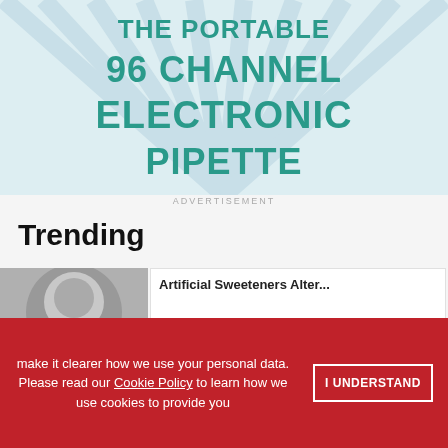[Figure (illustration): Advertisement banner for a portable 96 channel electronic pipette. Teal/dark cyan bold text on a light blue sunburst background. Text reads: THE PORTABLE / 96 CHANNEL / ELECTRONIC / PIPETTE.]
ADVERTISEMENT
Trending
[Figure (photo): Partial thumbnail photo of a laboratory dish or circular item, grayscale.]
Artificial Sweeteners Alter...
make it clearer how we use your personal data.
Please read our Cookie Policy to learn how we use cookies to provide you
I UNDERSTAND
[Figure (logo): ThermoFisher Scientific logo in white text on red background.]
Assistance available through our Cancer Research Foundation
Apply now
ADVERTISEMENT